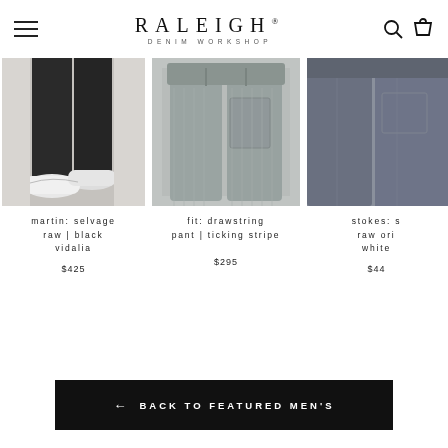RALEIGH DENIM WORKSHOP
[Figure (photo): Product photo of dark jeans/pants worn with white sneakers, cropped at legs]
martin: selvage raw | black vidalia
$425
[Figure (photo): Product flat lay photo of grey drawstring ticking stripe pants]
fit: drawstring pant | ticking stripe
$295
[Figure (photo): Partial product photo of dark grey/charcoal pants, cropped on right edge]
stokes: s raw ori white
$44
← BACK TO FEATURED MEN'S